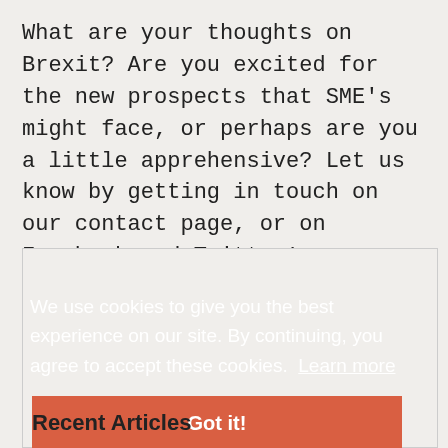What are your thoughts on Brexit? Are you excited for the new prospects that SME’s might face, or perhaps are you a little apprehensive? Let us know by getting in touch on our contact page, or on Facebook and Twitter!
We use cookies to give you the best experience on our site. By continuing, you agree to accept these cookies.  Learn more
Got it!
Recent Articles